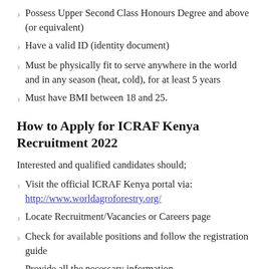Possess Upper Second Class Honours Degree and above (or equivalent)
Have a valid ID (identity document)
Must be physically fit to serve anywhere in the world and in any season (heat, cold), for at least 5 years
Must have BMI between 18 and 25.
How to Apply for ICRAF Kenya Recruitment 2022
Interested and qualified candidates should;
Visit the official ICRAF Kenya portal via: http://www.worldagroforestry.org/
Locate Recruitment/Vacancies or Careers page
Check for available positions and follow the registration guide
Provide all the necessary information